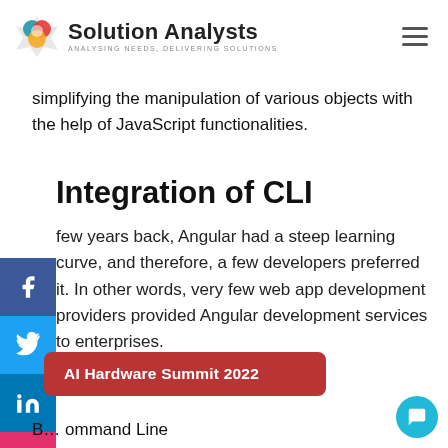Solution Analysts — ANALYSING NEEDS, DELIVERING SOLUTIONS
simplifying the manipulation of various objects with the help of JavaScript functionalities.
Integration of CLI
A few years back, Angular had a steep learning curve, and therefore, a few developers preferred it. In other words, very few web app development providers provided Angular development services to enterprises.
[Figure (other): Red banner reading 'AI Hardware Summit 2022']
B... Command Line